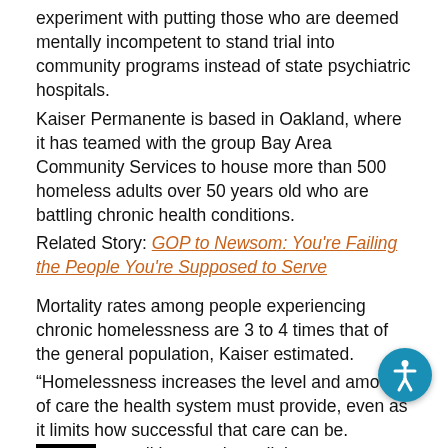experiment with putting those who are deemed mentally incompetent to stand trial into community programs instead of state psychiatric hospitals.
Kaiser Permanente is based in Oakland, where it has teamed with the group Bay Area Community Services to house more than 500 homeless adults over 50 years old who are battling chronic health conditions.
Related Story: GOP to Newsom: You're Failing the People You're Supposed to Serve
Mortality rates among people experiencing chronic homelessness are 3 to 4 times that of the general population, Kaiser estimated.
“Homelessness increases the level and amount of care the health system must provide, even as it limits how successful that care can be. Common conditions such as diabetes, hypertension and asthma are nearly impos… to manage without housing,” Kaiser said in a statement.